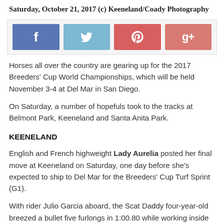Saturday, October 21, 2017 (c) Keeneland/Coady Photography
[Figure (infographic): Social media sharing buttons: Facebook (blue), Twitter (light blue), Pinterest (red), Google+ (salmon/red)]
Horses all over the country are gearing up for the 2017 Breeders' Cup World Championships, which will be held November 3-4 at Del Mar in San Diego.
On Saturday, a number of hopefuls took to the tracks at Belmont Park, Keeneland and Santa Anita Park.
KEENELAND
English and French highweight Lady Aurelia posted her final move at Keeneland on Saturday, one day before she's expected to ship to Del Mar for the Breeders' Cup Turf Sprint (G1).
With rider Julio Garcia aboard, the Scat Daddy four-year-old breezed a bullet five furlongs in 1:00.80 while working inside of